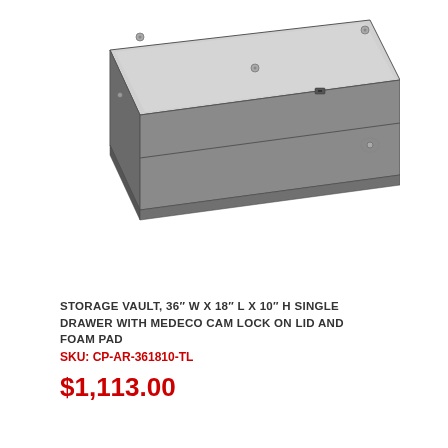[Figure (photo): 3D rendered isometric view of a rectangular metal storage vault with dark gray body and light gray lid. The lid has visible screws/bolts and a cam lock mechanism. The box has a single drawer form factor.]
STORAGE VAULT, 36" W X 18" L X 10" H SINGLE DRAWER WITH MEDECO CAM LOCK ON LID AND FOAM PAD
SKU: CP-AR-361810-TL
$1,113.00